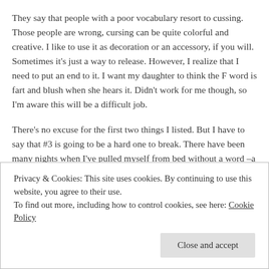They say that people with a poor vocabulary resort to cussing. Those people are wrong, cursing can be quite colorful and creative. I like to use it as decoration or an accessory, if you will. Sometimes it's just a way to release. However, I realize that I need to put an end to it. I want my daughter to think the F word is fart and blush when she hears it. Didn't work for me though, so I'm aware this will be a difficult job.
There's no excuse for the first two things I listed. But I have to say that #3 is going to be a hard one to break. There have been many nights when I've pulled myself from bed without a word –a loud, exhaustive sigh–yes, but no words. But then there are those nights
Privacy & Cookies: This site uses cookies. By continuing to use this website, you agree to their use.
To find out more, including how to control cookies, see here: Cookie Policy
Close and accept